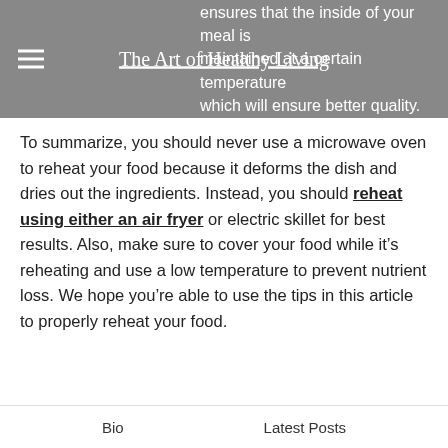The Art of Healthy Living
ensures that the inside of your meal is maintained at a certain temperature which will ensure better quality.
To summarize, you should never use a microwave oven to reheat your food because it deforms the dish and dries out the ingredients. Instead, you should reheat using either an air fryer or electric skillet for best results. Also, make sure to cover your food while it’s reheating and use a low temperature to prevent nutrient loss. We hope you’re able to use the tips in this article to properly reheat your food.
Bio | Latest Posts